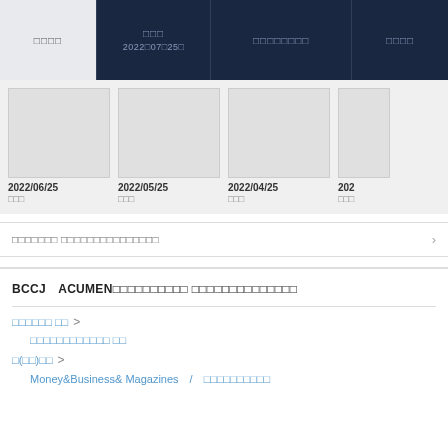| □□□□ | □□□
2022□07□25□ | □□□□□□□□ | □□□□ |
| --- | --- | --- | --- |
[Figure (screenshot): Thumbnail strip showing past issues with dates 2022/06/25, 2022/05/25, 2022/04/25, 202...]
2022/06/25 □□□
2022/05/25 □□□
2022/04/25 □□□
202... □□□
□□□□□□□ □□□□□□□□□□□□□□□
BCCJ　ACUMEN□□□□□□□□□□ □□□□□□□□□□□□□□
□□□□□□ □□  >
□□□□□□□□□□□□ □□
□(□□)□□  >
Money&Business& Magazines　/　□□□□□□□□□□